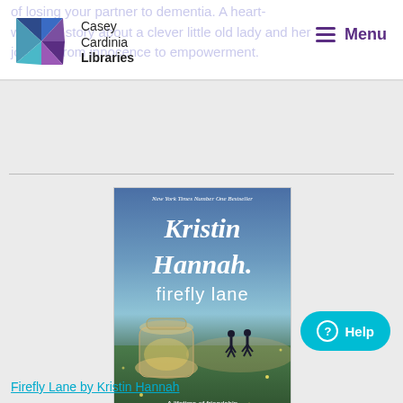of losing your partner to dementia. A heart-warming story about a clever little old lady and her journey from innocence to empowerment.
[Figure (logo): Casey Cardinia Libraries logo — a stylized K shape made of colorful triangular segments in blue, teal, and purple, with text 'Casey Cardinia Libraries']
Menu
[Figure (photo): Book cover of 'Firefly Lane' by Kristin Hannah. Shows a twilight scene with fireflies, a mason jar lantern, and two silhouetted figures walking. Text reads: New York Times Number One Bestseller, Kristin Hannah, firefly lane, A lifetime of friendship A moment of betrayal.]
Firefly Lane by Kristin Hannah